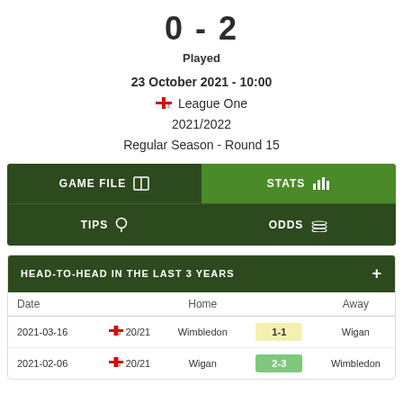0 - 2
Played
23 October 2021 - 10:00
🏴 League One
2021/2022
Regular Season - Round 15
|  | GAME FILE | STATS | TIPS | ODDS |
| --- | --- | --- | --- | --- |
HEAD-TO-HEAD IN THE LAST 3 YEARS
| Date |  | Home |  | Away |
| --- | --- | --- | --- | --- |
| 2021-03-16 | 🏴 20/21 | Wimbledon | 1-1 | Wigan |
| 2021-02-06 | 🏴 20/21 | Wigan | 2-3 | Wimbledon |